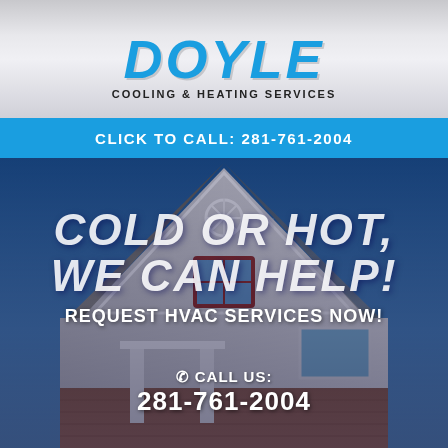[Figure (logo): Doyle Cooling & Heating Services logo with blue stylized text and horizontal stripes]
CLICK TO CALL: 281-761-2004
[Figure (photo): House exterior photo showing peaked roofline against blue sky, brick and siding facade]
COLD OR HOT, WE CAN HELP!
REQUEST HVAC SERVICES NOW!
✆ CALL US: 281-761-2004